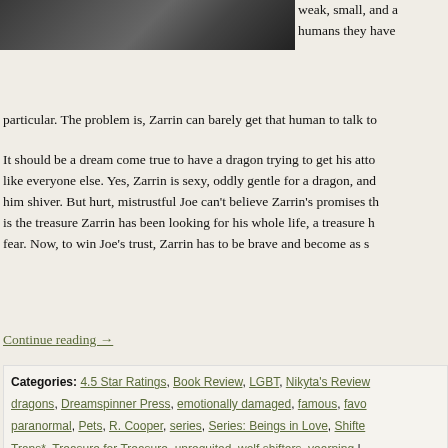[Figure (photo): Dark photo of a person, cropped, shown in upper left area]
weak, small, and a humans they have particular. The problem is, Zarrin can barely get that human to talk to
It should be a dream come true to have a dragon trying to get his atte like everyone else. Yes, Zarrin is sexy, oddly gentle for a dragon, and him shiver. But hurt, mistrustful Joe can't believe Zarrin's promises th is the treasure Zarrin has been looking for his whole life, a treasure h fear. Now, to win Joe's trust, Zarrin has to be brave and become as s
Continue reading →
Categories: 4.5 Star Ratings, Book Review, LGBT, Nikyta's Review dragons, Dreamspinner Press, emotionally damaged, famous, favo paranormal, Pets, R. Cooper, series, Series: Beings in Love, Shifte Trans*, Treasure for Treasure, unrequited, wolf shifters, yearning |
Early Review: A Matter of Disagreem
Posted on March 24, 2014 by Nikyta
Reviewed by Nikyta